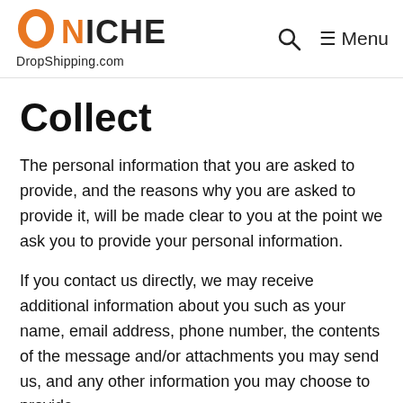NICHE DropShipping.com — Menu
Collect
The personal information that you are asked to provide, and the reasons why you are asked to provide it, will be made clear to you at the point we ask you to provide your personal information.
If you contact us directly, we may receive additional information about you such as your name, email address, phone number, the contents of the message and/or attachments you may send us, and any other information you may choose to provide.